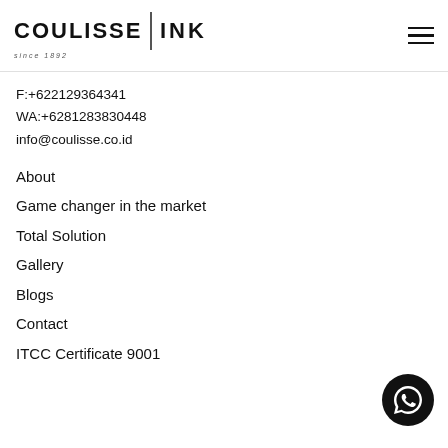[Figure (logo): Coulisse INK logo with 'since 1892' tagline and hamburger menu icon]
F:+622129364341
WA:+6281283830448
info@coulisse.co.id
About
Game changer in the market
Total Solution
Gallery
Blogs
Contact
ITCC Certificate 9001